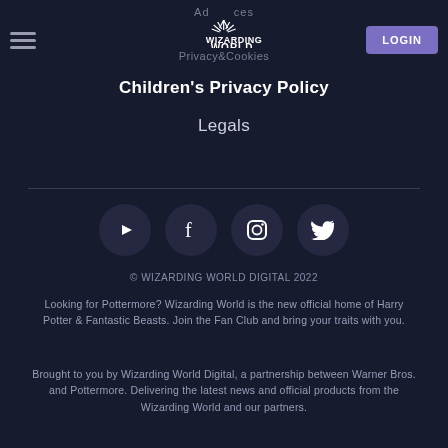Ads & Cookies | Privacy & Cookies | LOGIN | Wizarding World logo
Children's Privacy Policy
Legals
[Figure (infographic): Four social media icon circles: YouTube, Facebook, Instagram, Twitter]
© WIZARDING WORLD DIGITAL 2022
Looking for Pottermore? Wizarding World is the new official home of Harry Potter & Fantastic Beasts. Join the Fan Club and bring your traits with you.
Brought to you by Wizarding World Digital, a partnership between Warner Bros. and Pottermore. Delivering the latest news and official products from the Wizarding World and our partners.